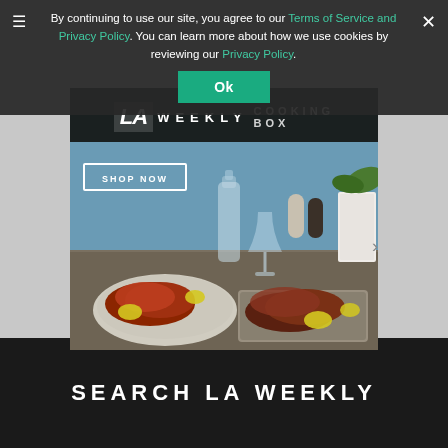By continuing to use our site, you agree to our Terms of Service and Privacy Policy. You can learn more about how we use cookies by reviewing our Privacy Policy.
Ok
[Figure (photo): LA Weekly Cooking Box advertisement banner showing a food photo with seafood dishes on a table with glasses and condiments. Includes a SHOP NOW button overlay.]
SEARCH LA WEEKLY